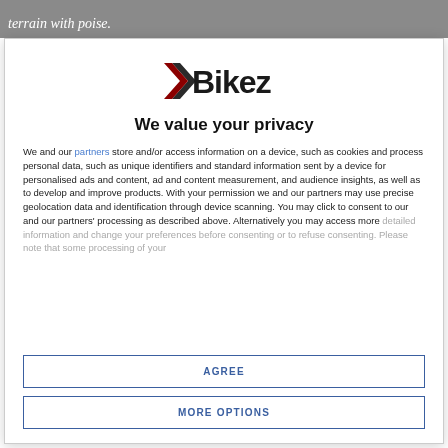terrain with poise.
[Figure (logo): Bikez logo with stylized arrow and text]
We value your privacy
We and our partners store and/or access information on a device, such as cookies and process personal data, such as unique identifiers and standard information sent by a device for personalised ads and content, ad and content measurement, and audience insights, as well as to develop and improve products. With your permission we and our partners may use precise geolocation data and identification through device scanning. You may click to consent to our and our partners' processing as described above. Alternatively you may access more detailed information and change your preferences before consenting or to refuse consenting. Please note that some processing of your
AGREE
MORE OPTIONS